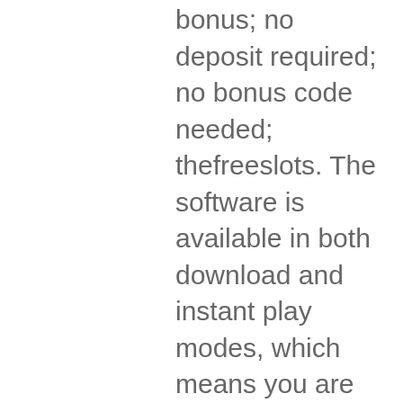bonus; no deposit required; no bonus code needed; thefreeslots. The software is available in both download and instant play modes, which means you are not stuck with just one option. There are hundreds of exciting games to. Games at quatro casino. Using the microgaming software platform, quatro casino offers an instant play flash version as well as a downloadable. Play instant games on site or download full microgaming software package. Top online casino games by total win of quatro casino players. Game, wins, total win. Quatro casino 20 spins. You're in the best place to play free online slots. Here you will able to download pop. Quatro casino no deposit bonus codes ==&gt;get 70 free spins now ! players from canada allowed - software: microgaming. Sofware provider: microgaming;; download &amp; instant-play. Welcome bonus: deposit bonus offering free